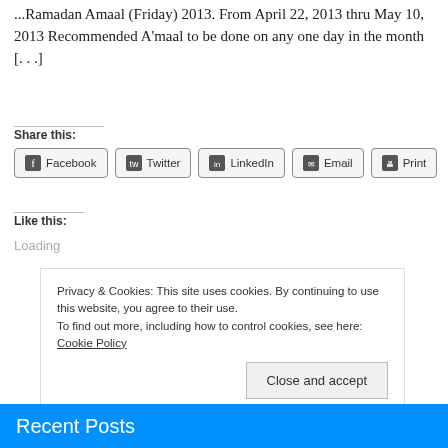...Ramadan Amaal (Friday) 2013. From April 22, 2013 thru May 10, 2013 Recommended A'maal to be done on any one day in the month [...]
Share this:
Facebook Twitter LinkedIn Email Print
Like this:
Loading
Privacy & Cookies: This site uses cookies. By continuing to use this website, you agree to their use. To find out more, including how to control cookies, see here: Cookie Policy
Close and accept
Recent Posts